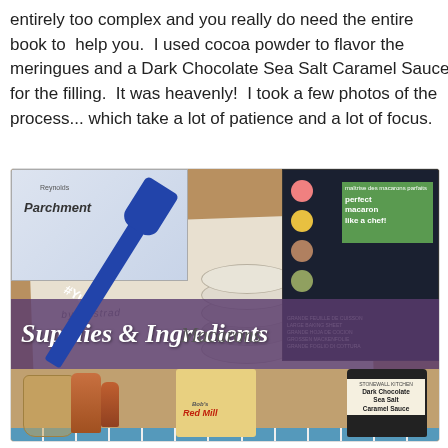entirely too complex and you really do need the entire book to  help you.  I used cocoa powder to flavor the meringues and a Dark Chocolate Sea Salt Caramel Sauce for the filling.  It was heavenly!  I took a few photos of the process... which take a lot of patience and a lot of focus.
[Figure (photo): Flat lay photo showing macaron-making supplies including: a Reynolds parchment paper box, a blue '#YUM' spatula, a macaron recipe book titled 'Macarons', a silicone macaron baking mat box with colorful macaron images (labeled 'Grande Feuille de Cuisson / Large Baking Sheet'), Bob's Red Mill bag, a Stonewall Kitchen Dark Chocolate Sea Salt Caramel Sauce jar, wooden utensils, a glass, and a purple overlay banner reading 'Supplies & Ingredients']